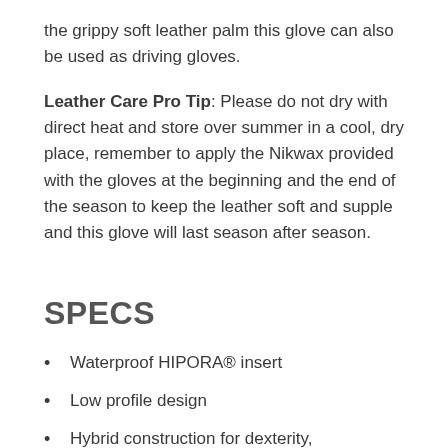the grippy soft leather palm this glove can also be used as driving gloves.
Leather Care Pro Tip: Please do not dry with direct heat and store over summer in a cool, dry place, remember to apply the Nikwax provided with the gloves at the beginning and the end of the season to keep the leather soft and supple and this glove will last season after season.
SPECS
Waterproof HIPORA® insert
Low profile design
Hybrid construction for dexterity, performance and breathability